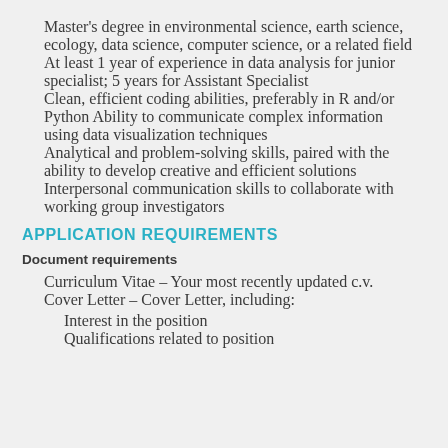Master's degree in environmental science, earth science, ecology, data science, computer science, or a related field
At least 1 year of experience in data analysis for junior specialist; 5 years for Assistant Specialist
Clean, efficient coding abilities, preferably in R and/or Python Ability to communicate complex information using data visualization techniques
Analytical and problem-solving skills, paired with the ability to develop creative and efficient solutions
Interpersonal communication skills to collaborate with working group investigators
APPLICATION REQUIREMENTS
Document requirements
Curriculum Vitae – Your most recently updated c.v.
Cover Letter – Cover Letter, including:
Interest in the position
Qualifications related to position